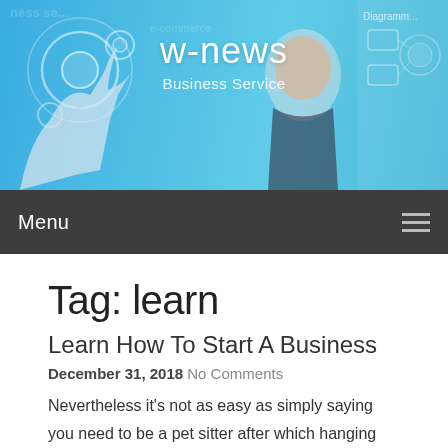[Figure (illustration): Website header banner with blue background, hand touching digital circles on the left, man's face on the right, site title 'w-news' and subtitle 'Business Service' in the center, and a diagram on the far right]
Menu
Tag: learn
Learn How To Start A Business
December 31, 2018 No Comments
Nevertheless it's not as easy as simply saying you need to be a pet sitter after which hanging out with cute puppies all day. If you're not hiring employees, however as an alternative outsourcing work to independent contractors, now could be the time to work with an legal professional to get your unbiased contractor settlement in place and start your search. It's worthwhile to develop a superb brief pitch to convince